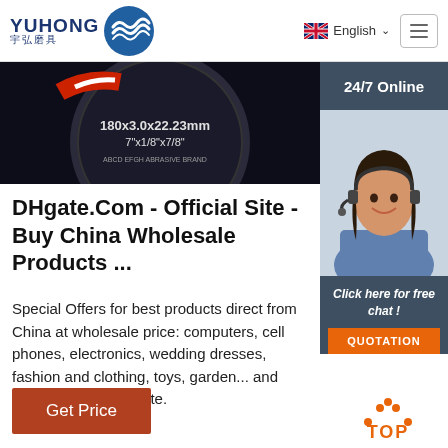YUHONG 宇弘磨具 — English (navigation header with hamburger menu)
[Figure (photo): Close-up of a grinding disc labelled 180x3.0x22.23mm 7"x1/8"x7/8" on dark background]
[Figure (photo): 24/7 Online customer service representative wearing headset, smiling, with dark header and 'Click here for free chat!' text and QUOTATION orange button]
DHgate.Com - Official Site - Buy China Wholesale Products ...
Special Offers for best products direct from China at wholesale price: computers, cell phones, electronics, wedding dresses, fashion and clothing, toys, garden... and much more on DHgate.
Get Price
[Figure (other): Orange 'TOP' back-to-top button with dotted arc above]